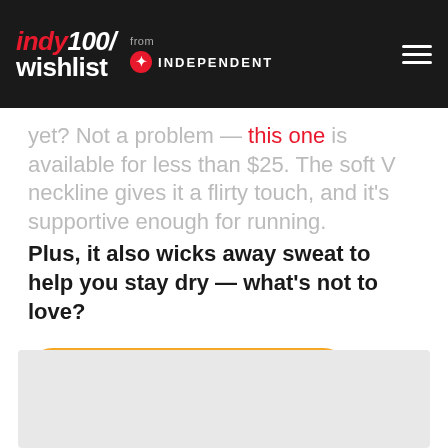indy100/ wishlist — from INDEPENDENT
yet? Not a problem — this one is available for less than $25. The soft V neckline gives it a flirty touch, and it's supportive enough for running. Plus, it also wicks away sweat to help you stay dry — what's not to love?
SEE IT ON AMAZON
[Figure (photo): Light grey placeholder image area at the bottom of the page]